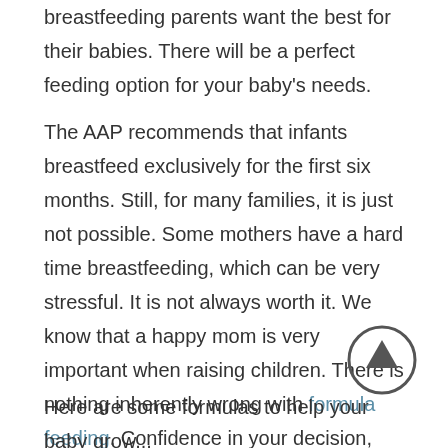breastfeeding parents want the best for their babies. There will be a perfect feeding option for your baby's needs.
The AAP recommends that infants breastfeed exclusively for the first six months. Still, for many families, it is just not possible. Some mothers have a hard time breastfeeding, which can be very stressful. It is not always worth it. We know that a happy mom is very important when raising children. There is nothing inherently wrong with formula feeding. Confidence in your decision, knowing that you are doing the right thing for yourself and your baby.
Here are some formulas to help your baby grow...